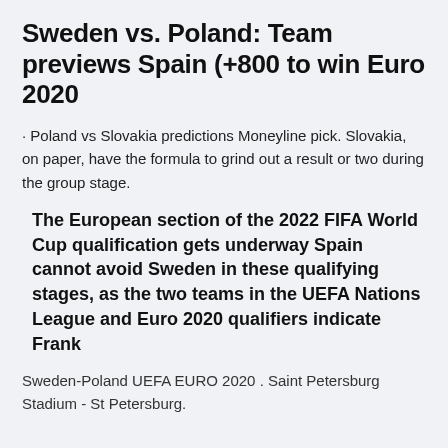Sweden vs. Poland: Team previews Spain (+800 to win Euro 2020
· Poland vs Slovakia predictions Moneyline pick. Slovakia, on paper, have the formula to grind out a result or two during the group stage.
The European section of the 2022 FIFA World Cup qualification gets underway Spain cannot avoid Sweden in these qualifying stages, as the two teams in the UEFA Nations League and Euro 2020 qualifiers indicate Frank
Sweden-Poland UEFA EURO 2020 . Saint Petersburg Stadium - St Petersburg.